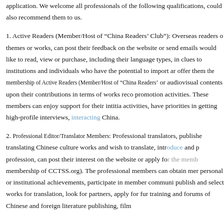application. We welcome all professionals of the following qualifications, could also recommend them to us.
1. Active Readers (Member/Host of “China Readers’ Club”): Overseas readers of themes or works, can post their feedback on the website or send emails would like to read, view or purchase, including their language types, in clues to institutions and individuals who have the potential to import ar offer them the membership of Active Readers (Member/Host of “China Readers’ or audiovisual contents upon their contributions in terms of works reco promotion activities. These members can enjoy support for their intitia activities, have priorities in getting high-profile interviews, interacting China.
2. Professional Editor/Translator Members: Professional translators, publishe translating Chinese culture works and wish to translate, introduce and p profession, can post their interest on the website or apply for the memb membership of CCTSS.org). The professional members can obtain mer personal or institutional achievements, participate in member communi publish and select works for translation, look for partners, apply for fur training and forums of Chinese and foreign literature publishing, film